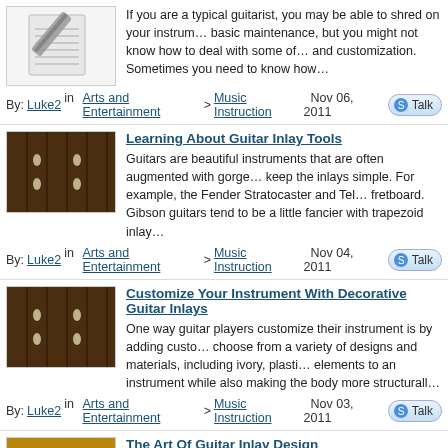[Figure (photo): Pencil/notepad icon thumbnail]
If you are a typical guitarist, you may be able to shred on your instrument and perform basic maintenance, but you might not know how to deal with some of the more advanced repairs and customization. Sometimes you need to know how…
By: Luke2 in Arts and Entertainment > Music Instruction  Nov 06, 2011  Talk
Learning About Guitar Inlay Tools
[Figure (photo): Guitar fretboard thumbnail image]
Guitars are beautiful instruments that are often augmented with gorgeous inlays. Some keep the inlays simple. For example, the Fender Stratocaster and Tele keep dots on the fretboard. Gibson guitars tend to be a little fancier with trapezoid inlay…
By: Luke2 in Arts and Entertainment > Music Instruction  Nov 04, 2011  Talk
Customize Your Instrument With Decorative Guitar Inlays
[Figure (photo): Guitar fretboard thumbnail image]
One way guitar players customize their instrument is by adding custom inlays. Players choose from a variety of designs and materials, including ivory, plastic, and other elements to an instrument while also making the body more structurally…
By: Luke2 in Arts and Entertainment > Music Instruction  Nov 03, 2011  Talk
The Art Of Guitar Inlay Design
[Figure (photo): Ornate guitar inlay design thumbnail]
Guitar players know about the art of music, but there is more to the art than just the music a skilled musician can bring out. A skilled guitar maker knows the instrument itself. Guitars, mandolins,…